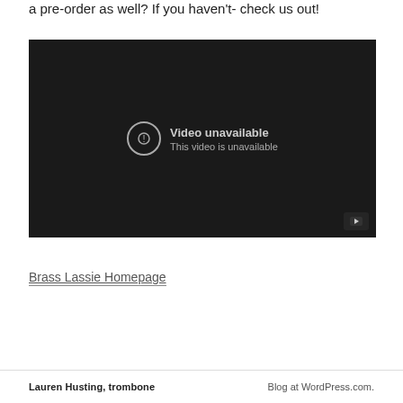a pre-order as well? If you haven't- check us out!
[Figure (screenshot): Embedded video player showing 'Video unavailable' message with exclamation mark icon and YouTube play button in bottom right corner on dark background]
Brass Lassie Homepage
Lauren Husting, trombone    Blog at WordPress.com.